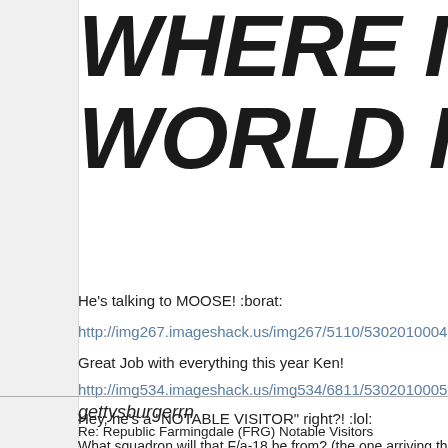WHERE IN THE WORLD IS CHR
He's talking to MOOSE! :borat:
http://img267.imageshack.us/img267/5110/5302010004.jpg
Great Job with everything this year Ken!
http://img534.imageshack.us/img534/6811/5302010005.jpg
Hey, he's a "NOTABLE VISITOR" right?! :lol:
gettysburgerrn
Re: Republic Farmingdale (FRG) Notable Visitors
What squadron will that F/a-18 be from? (the one arriving th